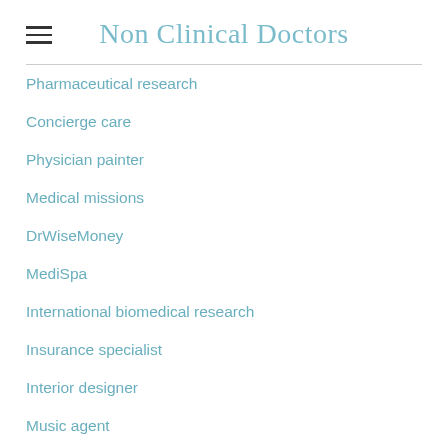Non Clinical Doctors
Pharmaceutical research
Concierge care
Physician painter
Medical missions
DrWiseMoney
MediSpa
International biomedical research
Insurance specialist
Interior designer
Music agent